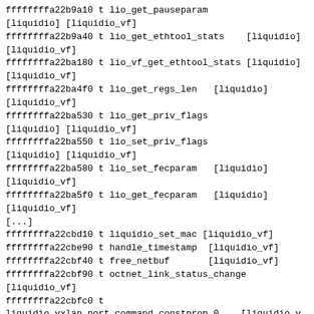ffffffffa22b9a10 t lio_get_pauseparam
[liquidio] [liquidio_vf]
ffffffffa22b9a40 t lio_get_ethtool_stats    [liquidio]
[liquidio_vf]
ffffffffa22ba180 t lio_vf_get_ethtool_stats [liquidio]
[liquidio_vf]
ffffffffa22ba4f0 t lio_get_regs_len   [liquidio]
[liquidio_vf]
ffffffffa22ba530 t lio_get_priv_flags
[liquidio] [liquidio_vf]
ffffffffa22ba550 t lio_set_priv_flags
[liquidio] [liquidio_vf]
ffffffffa22ba580 t lio_set_fecparam   [liquidio]
[liquidio_vf]
ffffffffa22ba5f0 t lio_get_fecparam   [liquidio]
[liquidio_vf]
[...]
ffffffffa22cbd10 t liquidio_set_mac [liquidio_vf]
ffffffffa22cbe90 t handle_timestamp  [liquidio_vf]
ffffffffa22cbf40 t free_netbuf       [liquidio_vf]
ffffffffa22cbf90 t octnet_link_status_change
[liquidio_vf]
ffffffffa22cbfc0 t
liquidio_vxlan_port_command.constprop.0    [liquidio_vf]
Like /proc/kallsyms, the output is driven by address,
so keeps the
curious property of /proc/kallsyms that symbols (like
free_netbuf above)
may appear repeatedly with different addresses: but